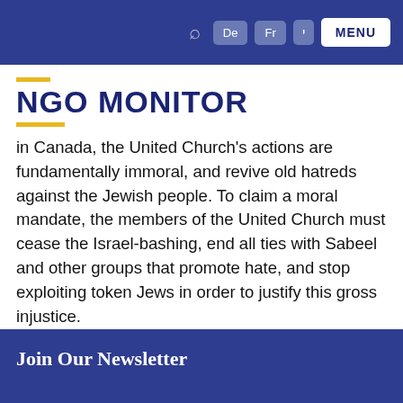NGO MONITOR — navigation bar with De, Fr, Hebrew language buttons and MENU
NGO MONITOR
in Canada, the United Church's actions are fundamentally immoral, and revive old hatreds against the Jewish people. To claim a moral mandate, the members of the United Church must cease the Israel-bashing, end all ties with Sabeel and other groups that promote hate, and stop exploiting token Jews in order to justify this gross injustice.
Join Our Newsletter